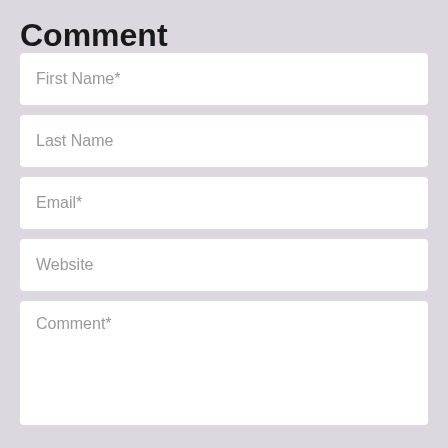Comment
First Name*
Last Name
Email*
Website
Comment*